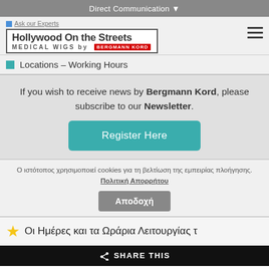Direct Communication ▾
Ask our Experts
[Figure (logo): Hollywood On the Streets - MEDICAL WIGS by BERGMANN KORD logo in a bordered box]
Locations – Working Hours
If you wish to receive news by Bergmann Kord, please subscribe to our Newsletter.
Register Here
Ο ιστότοπος χρησιμοποιεί cookies για τη βελτίωση της εμπειρίας πλοήγησης. Πολιτική Απορρήτου
Αποδοχή
Οι Ημέρες και τα Ωράρια Λειτουργίας τ
< SHARE THIS